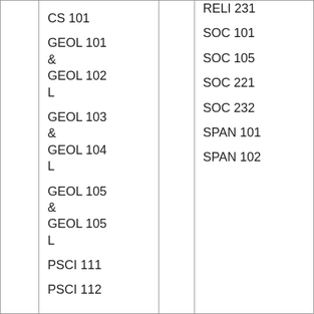|  | CS 101

GEOL 101
&
GEOL 102
L

GEOL 103
&
GEOL 104
L

GEOL 105
&
GEOL 105
L

PSCI 111

PSCI 112 |  | RELI 231

SOC 101

SOC 105

SOC 221

SOC 232

SPAN 101

SPAN 102 |